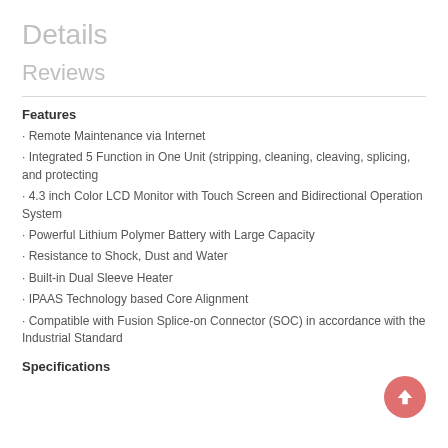Details
Reviews
Features
· Remote Maintenance via Internet
· Integrated 5 Function in One Unit (stripping, cleaning, cleaving, splicing, and protecting
· 4.3 inch Color LCD Monitor with Touch Screen and Bidirectional Operation System
· Powerful Lithium Polymer Battery with Large Capacity
· Resistance to Shock, Dust and Water
· Built-in Dual Sleeve Heater
· IPAAS Technology based Core Alignment
· Compatible with Fusion Splice-on Connector (SOC) in accordance with the Industrial Standard
Specifications